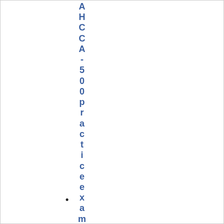AHCCA-500practiceexamPEGA
PEGA